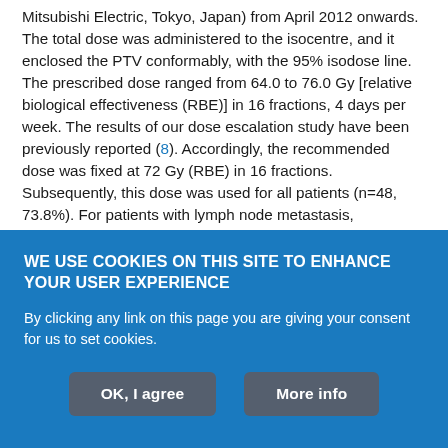Mitsubishi Electric, Tokyo, Japan) from April 2012 onwards. The total dose was administered to the isocentre, and it enclosed the PTV conformably, with the 95% isodose line. The prescribed dose ranged from 64.0 to 76.0 Gy [relative biological effectiveness (RBE)] in 16 fractions, 4 days per week. The results of our dose escalation study have been previously reported (8). Accordingly, the recommended dose was fixed at 72 Gy (RBE) in 16 fractions. Subsequently, this dose was used for all patients (n=48, 73.8%). For patients with lymph node metastasis, prophylactic irradiation to the lymph nodes was performed at a median dose of 49.5 Gy (RBE) (8, 10, 11). The following irradiation dose constraints were applied: 60 Gy (RBE) to
WE USE COOKIES ON THIS SITE TO ENHANCE YOUR USER EXPERIENCE
By clicking any link on this page you are giving your consent for us to set cookies.